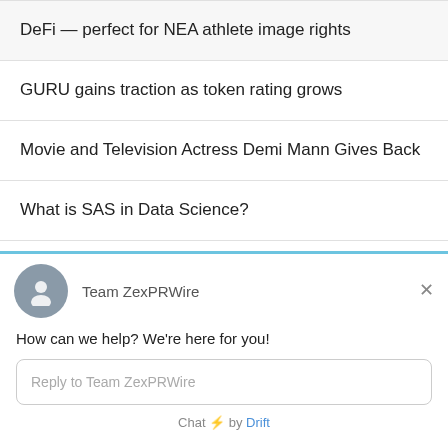DeFi — perfect for NEA athlete image rights
GURU gains traction as token rating grows
Movie and Television Actress Demi Mann Gives Back
What is SAS in Data Science?
Team ZexPRWire
How can we help? We're here for you!
Reply to Team ZexPRWire
Chat ⚡ by Drift